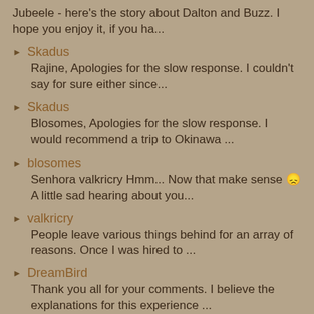Jubeele - here's the story about Dalton and Buzz. I hope you enjoy it, if you ha...
Skadus
Rajine, Apologies for the slow response. I couldn't say for sure either since...
Skadus
Blosomes, Apologies for the slow response. I would recommend a trip to Okinawa ...
blosomes
Senhora valkricry Hmm... Now that make sense 😞 A little sad hearing about you...
valkricry
People leave various things behind for an array of reasons. Once I was hired to ...
DreamBird
Thank you all for your comments. I believe the explanations for this experience ...
blosomes
Bibliothecarius Hey! How is things? Well, we communicated by email because I d...